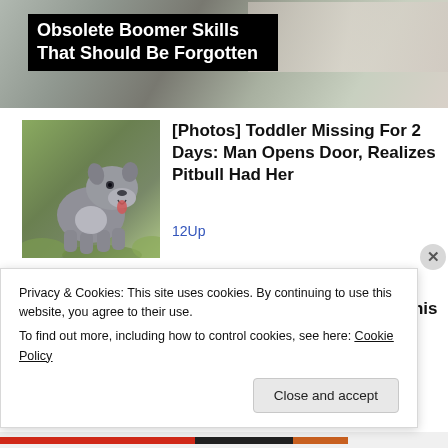[Figure (photo): Top banner image showing partial photo with dark overlay and title text overlay]
Obsolete Boomer Skills That Should Be Forgotten
[Figure (photo): Photo of a grey/blue pitbull dog standing on grass]
[Photos] Toddler Missing For 2 Days: Man Opens Door, Realizes Pitbull Had Her
12Up
[Figure (photo): Photo showing a circular object on blue background - logo quiz thumbnail]
Almost Nobody Has Passed This Classic Logo Quiz
Privacy & Cookies: This site uses cookies. By continuing to use this website, you agree to their use.
To find out more, including how to control cookies, see here: Cookie Policy
Close and accept